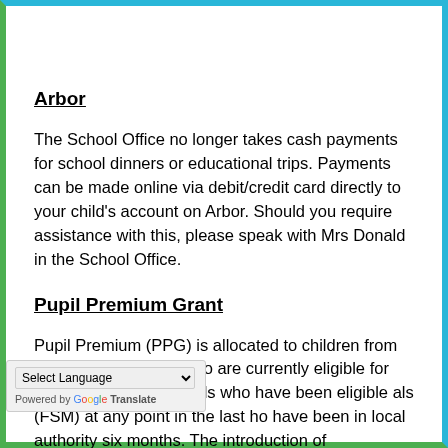Arbor
The School Office no longer takes cash payments for school dinners or educational trips. Payments can be made online via debit/credit card directly to your child's account on Arbor. Should you require assistance with this, please speak with Mrs Donald in the School Office.
Pupil Premium Grant
Pupil Premium (PPG) is allocated to children from low-income families who are currently eligible for free school meals, pupils who have been eligible for free school meals (FSM) at any point in the last six years, children who have been in local authority care for at least six months. The introduction of